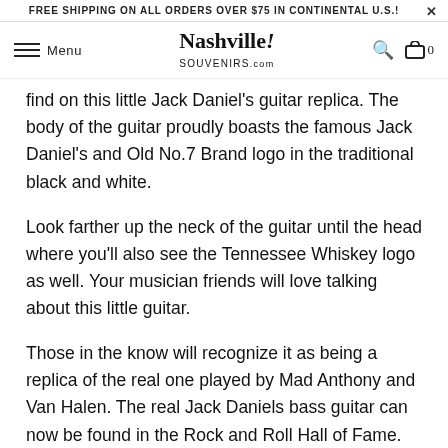FREE SHIPPING ON ALL ORDERS OVER $75 IN CONTINENTAL U.S.!
Nashville! SOUVENIRS.com  Menu  [search] [cart] 0
find on this little Jack Daniel's guitar replica. The body of the guitar proudly boasts the famous Jack Daniel's and Old No.7 Brand logo in the traditional black and white.
Look farther up the neck of the guitar until the head where you'll also see the Tennessee Whiskey logo as well. Your musician friends will love talking about this little guitar.
Those in the know will recognize it as being a replica of the real one played by Mad Anthony and Van Halen. The real Jack Daniels bass guitar can now be found in the Rock and Roll Hall of Fame.
The Jack Daniels guitar also comes with a neat little stand so it can be proudly displayed. It makes a wonderful